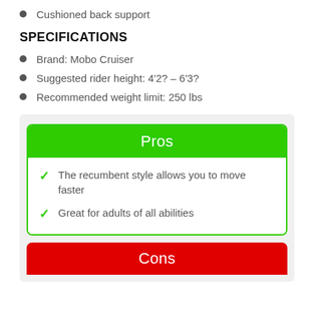Cushioned back support
SPECIFICATIONS
Brand: Mobo Cruiser
Suggested rider height: 4'2? – 6'3?
Recommended weight limit: 250 lbs
Pros
The recumbent style allows you to move faster
Great for adults of all abilities
Cons